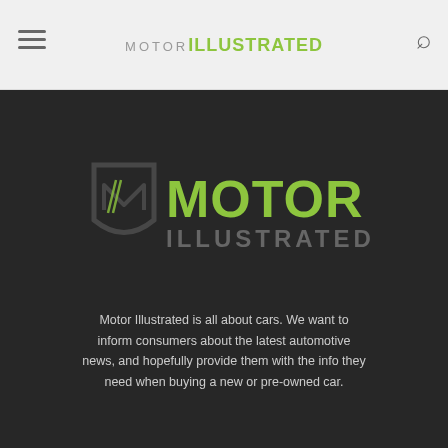MOTOR ILLUSTRATED
[Figure (logo): Motor Illustrated shield logo with green MOTOR text and gray ILLUSTRATED text on dark background]
Motor Illustrated is all about cars. We want to inform consumers about the latest automotive news, and hopefully provide them with the info they need when buying a new or pre-owned car.